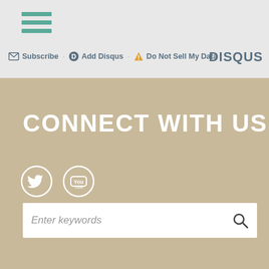Subscribe | Add Disqus | Do Not Sell My Data | DISQUS
CONNECT WITH US
[Figure (illustration): Twitter and YouTube social media icons in white circles on tan background]
SEARCH
Enter keywords